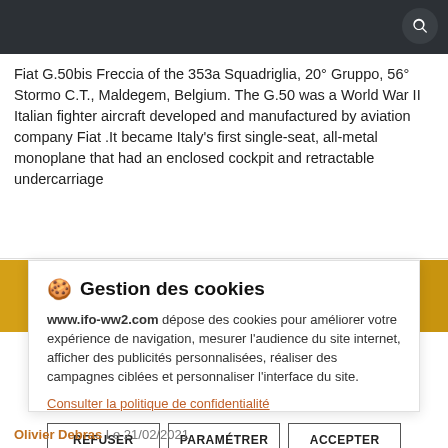Fiat G.50bis Freccia of the 353a Squadriglia, 20° Gruppo, 56° Stormo C.T., Maldegem, Belgium. The G.50 was a World War II Italian fighter aircraft developed and manufactured by aviation company Fiat .It became Italy's first single-seat, all-metal monoplane that had an enclosed cockpit and retractable undercarriage
[Figure (screenshot): Cookie consent dialog box for www.ifo-ww2.com with title 'Gestion des cookies', explanatory text in French, a link to privacy policy, and three buttons: REFUSER, PARAMÉTRER, ACCEPTER]
Olivier Debras Le 21/02/2021